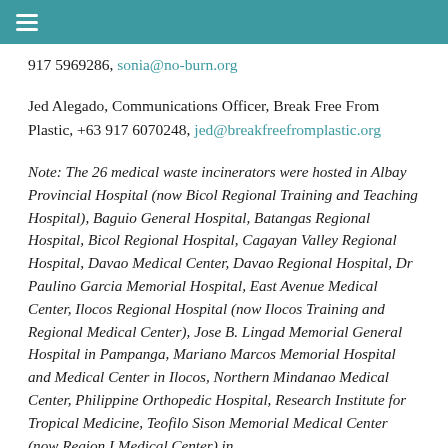≡
917 5969286, sonia@no-burn.org
Jed Alegado, Communications Officer, Break Free From Plastic, +63 917 6070248, jed@breakfreefromplastic.org
Note: The 26 medical waste incinerators were hosted in Albay Provincial Hospital (now Bicol Regional Training and Teaching Hospital), Baguio General Hospital, Batangas Regional Hospital, Bicol Regional Hospital, Cagayan Valley Regional Hospital, Davao Medical Center, Davao Regional Hospital, Dr Paulino Garcia Memorial Hospital, East Avenue Medical Center, Ilocos Regional Hospital (now Ilocos Training and Regional Medical Center), Jose B. Lingad Memorial General Hospital in Pampanga, Mariano Marcos Memorial Hospital and Medical Center in Ilocos, Northern Mindanao Medical Center, Philippine Orthopedic Hospital, Research Institute for Tropical Medicine, Teofilo Sison Memorial Medical Center (now Region I Medical Center) in